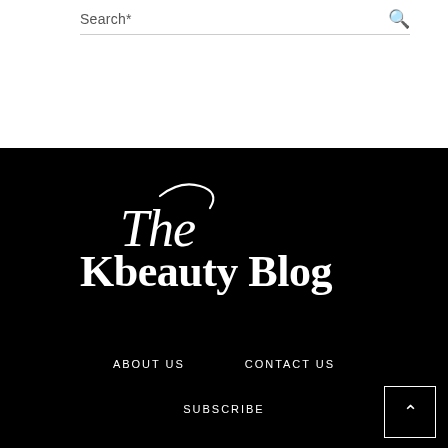Search*
[Figure (logo): The Kbeauty Blog logo with italic script 'The' and bold serif 'Kbeauty Blog' on black background]
ABOUT US
CONTACT US
SUBSCRIBE